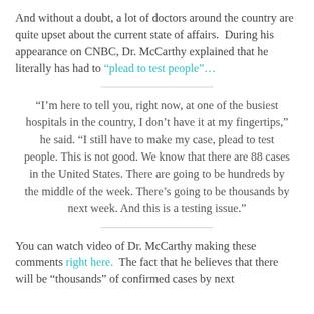And without a doubt, a lot of doctors around the country are quite upset about the current state of affairs. During his appearance on CNBC, Dr. McCarthy explained that he literally has had to "plead to test people"…
"I'm here to tell you, right now, at one of the busiest hospitals in the country, I don't have it at my fingertips," he said. "I still have to make my case, plead to test people. This is not good. We know that there are 88 cases in the United States. There are going to be hundreds by the middle of the week. There's going to be thousands by next week. And this is a testing issue."
You can watch video of Dr. McCarthy making these comments right here. The fact that he believes that there will be "thousands" of confirmed cases by next